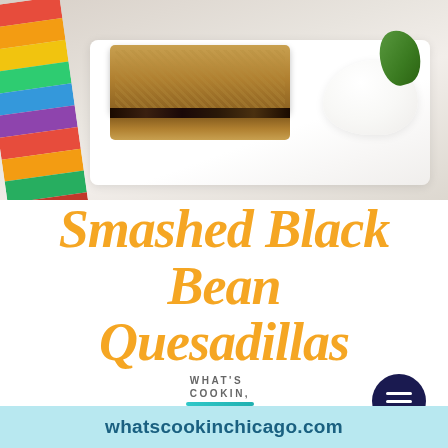[Figure (photo): Photo of smashed black bean quesadillas on a white plate with sour cream and herb garnish, with a colorful striped cloth/napkin visible on the left side]
Smashed Black Bean Quesadillas
[Figure (logo): What's Cookin, Chicago? blog logo with teal underline and cursive Chicago text]
[Figure (other): Dark navy hamburger menu button (three horizontal lines) in a circular button]
whatscookinchicago.com